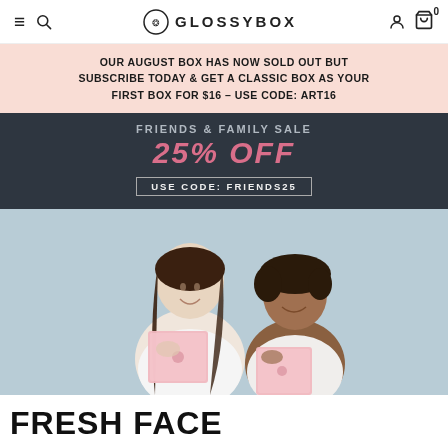GLOSSYBOX navigation bar with menu, search, logo, account, and cart icons
OUR AUGUST BOX HAS NOW SOLD OUT BUT SUBSCRIBE TODAY & GET A CLASSIC BOX AS YOUR FIRST BOX FOR $16 - USE CODE: ART16
FRIENDS & FAMILY SALE 25% OFF USE CODE: FRIENDS25
[Figure (photo): Two smiling women holding pink GLOSSYBOX subscription boxes against a light blue background]
FRESH FACE
When fresh looks come together with the best of...